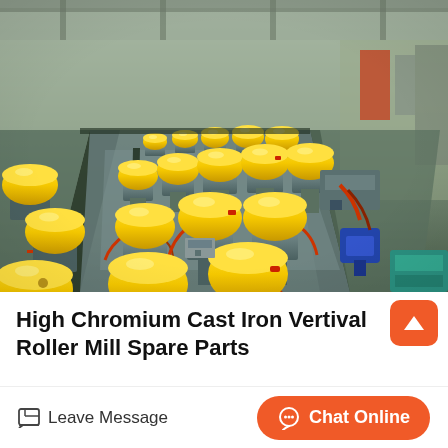[Figure (photo): Industrial facility showing a long production line with multiple yellow roller mill units mounted on grey metal frames along a conveyor track, photographed from an elevated angle inside a large factory building.]
High Chromium Cast Iron Vertival Roller Mill Spare Parts
Leave Message
Chat Online